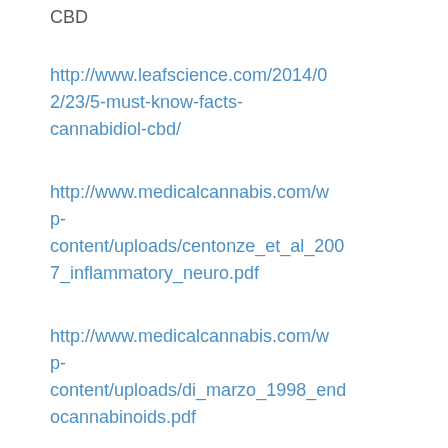CBD
http://www.leafscience.com/2014/02/23/5-must-know-facts-cannabidiol-cbd/
http://www.medicalcannabis.com/wp-content/uploads/centonze_et_al_2007_inflammatory_neuro.pdf
http://www.medicalcannabis.com/wp-content/uploads/di_marzo_1998_endocannabinoids.pdf